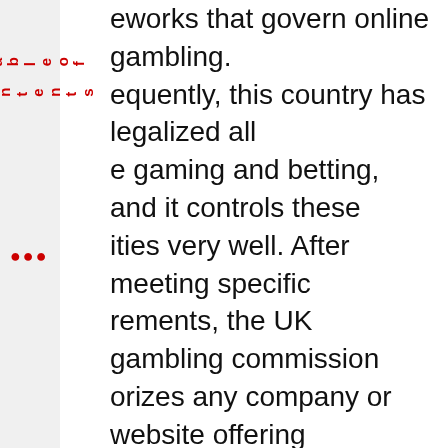eworks that govern online gambling. equently, this country has legalized all e gaming and betting, and it controls these ities very well. After meeting specific rements, the UK gambling commission orizes any company or website offering ng and betting services to British citizens. t's more, people can visit offline casinos in oe and play games like blackjack, roulette, baccarat, and poker. That's why these casino games are trendy in Europe. Sports betting is also popular in European countries, especially football and horse racing betting.